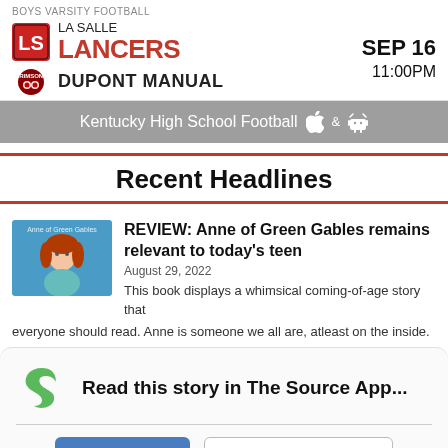BOYS VARSITY FOOTBALL
[Figure (infographic): La Salle Lancers logo (LS in red/black) and Crimsons logo alongside team names, date SEP 16 and time 11:00PM for a football game]
Kentucky High School Football
Recent Headlines
[Figure (illustration): Thumbnail image for Anne of Green Gables article showing a cartoon girl with red hair on blue background]
REVIEW: Anne of Green Gables remains relevant to today's teen
August 29, 2022
This book displays a whimsical coming-of-age story that everyone should read. Anne is someone we all are, atleast on the inside.
[Figure (logo): Student News Source logo with green S icon]
Read this story in The Source App...
Open App | Continue in browser